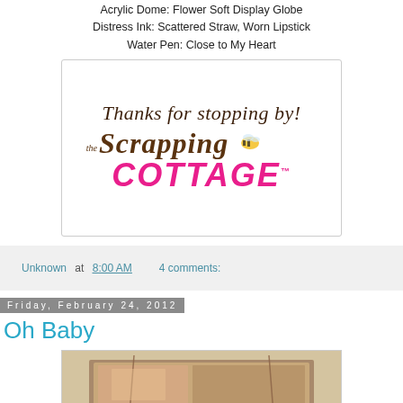Acrylic Dome: Flower Soft Display Globe
Distress Ink: Scattered Straw, Worn Lipstick
Water Pen: Close to My Heart
[Figure (logo): The Scrapping Cottage logo with cursive 'Thanks for stopping by!' text above, decorative script 'the Scrapping' and bold pink 'COTTAGE' text with a bee illustration]
Unknown at 8:00 AM    4 comments:
Friday, February 24, 2012
Oh Baby
[Figure (photo): Partial view of a crafting project photo, showing what appears to be a handmade card or album with patterned paper and twine]